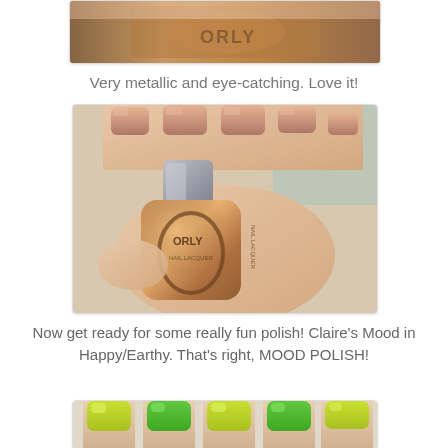[Figure (photo): Close-up of a metallic bronze/copper nail polish bottle top]
Very metallic and eye-catching. Love it!
[Figure (photo): Hand holding an Orly nail polish bottle in metallic rose-gold/bronze, fingernails painted the same color]
Now get ready for some really fun polish! Claire's Mood in Happy/Earthy. That's right, MOOD POLISH!
[Figure (photo): Fingers with yellow-green and green nail polish (mood polish)]